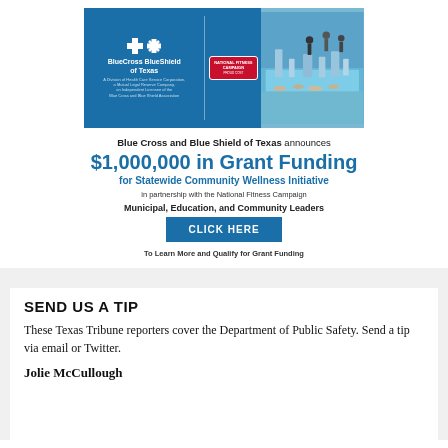[Figure (illustration): Blue Cross Blue Shield of Texas advertisement banner showing logo on blue background and outdoor fitness area photo with National Fitness Campaign badge]
Blue Cross and Blue Shield of Texas announces
$1,000,000 in Grant Funding
for Statewide Community Wellness Initiative
in partnership with the National Fitness Campaign
Municipal, Education, and Community Leaders
CLICK HERE
To Learn More and Qualify for Grant Funding
SEND US A TIP
These Texas Tribune reporters cover the Department of Public Safety. Send a tip via email or Twitter.
Jolie McCullough